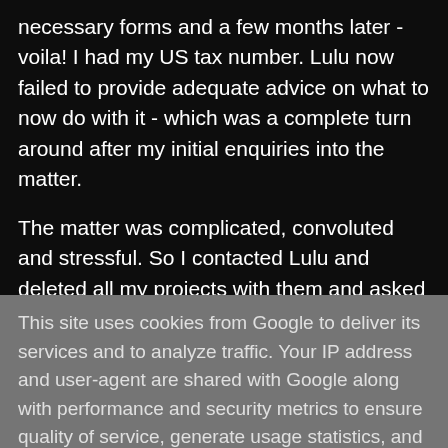necessary forms and a few months later - voila!  I had my US tax number.  Lulu now failed to provide adequate advice on what to now do with it - which was a complete turn around after my initial enquiries into the matter.
The matter was complicated, convoluted and stressful.  So I contacted Lulu and deleted all my projects with them and asked for all my associated 'coprighted' files to be deleted.
First they said,
This site uses cookies from Google to deliver its services and to analyze traffic. Your IP address and user-agent are shared with Google along with performance and security metrics to ensure quality of service, generate usage statistics, and to detect and address abuse.
LEARN MORE   OK